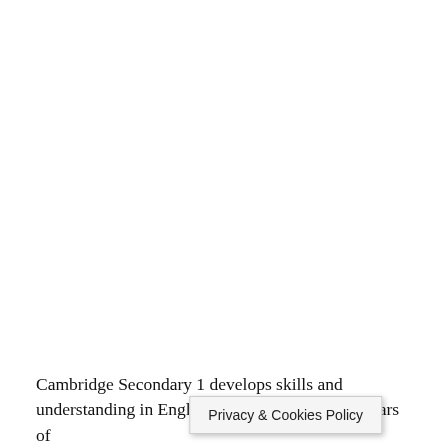Cambridge Secondary 1 develops skills and understanding in English, mathematics and … ee years of